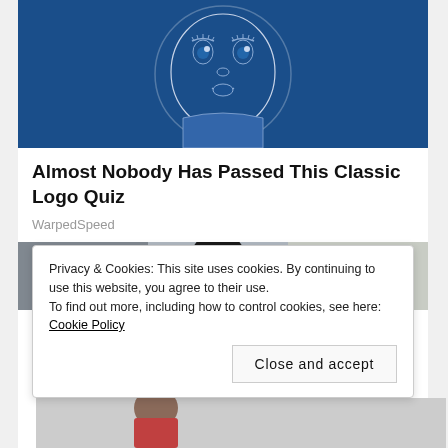[Figure (illustration): Gerber baby face illustration on blue background — a classic logo with a detailed drawing of a baby's face with wide eyes on a dark blue background]
Almost Nobody Has Passed This Classic Logo Quiz
WarpedSpeed
[Figure (photo): Photo of a person in dark clothing near a vehicle or industrial equipment, outdoors with trees visible]
Privacy & Cookies: This site uses cookies. By continuing to use this website, you agree to their use.
To find out more, including how to control cookies, see here: Cookie Policy
Close and accept